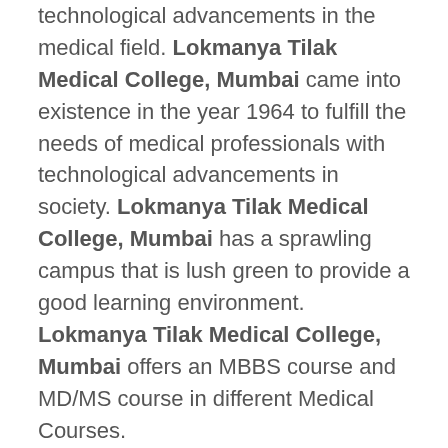technological advancements in the medical field. Lokmanya Tilak Medical College, Mumbai came into existence in the year 1964 to fulfill the needs of medical professionals with technological advancements in society. Lokmanya Tilak Medical College, Mumbai has a sprawling campus that is lush green to provide a good learning environment. Lokmanya Tilak Medical College, Mumbai offers an MBBS course and MD/MS course in different Medical Courses.
The institute has a hospital named as Sion Hospital to provide medical facilities to the nearby areas of Maharashtra and is connected well to the city. There are more